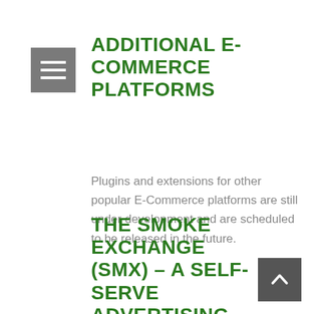[Figure (other): Hamburger menu icon — three horizontal white lines on a grey square background]
ADDITIONAL E-COMMERCE PLATFORMS
Plugins and extensions for other popular E-Commerce platforms are still under development and are scheduled to be released in the future.
THE SMOKE EXCHANGE (SMX) – A SELF-SERVE ADVERTISING PLATFORM FOR THE LEGAL MARIJUANA
[Figure (other): Scroll-to-top button — upward-pointing chevron on a dark grey square background]